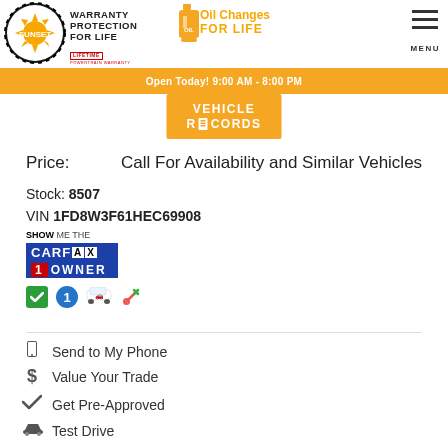Sunset — Warranty Protection For Life | Oil Changes For Life | MENU
Open Today! 9:00 AM - 8:00 PM
[Figure (logo): Vehicle Records badge in orange]
Price:   Call For Availability and Similar Vehicles
Stock: 8507
VIN 1FD8W3F61HEC69908
[Figure (logo): Show Me The CARFAX 1 Owner badge with icons]
Send to My Phone
Value Your Trade
Get Pre-Approved
Test Drive